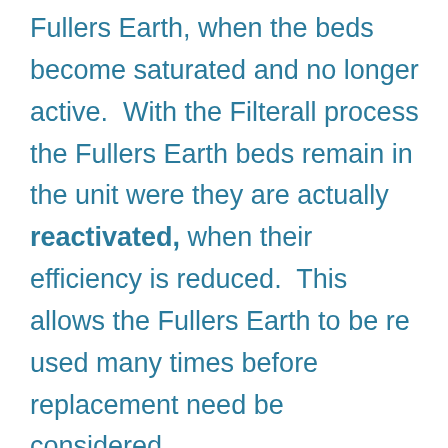Fullers Earth, when the beds become saturated and no longer active.  With the Filterall process the Fullers Earth beds remain in the unit were they are actually reactivated, when their efficiency is reduced.  This allows the Fullers Earth to be re used many times before replacement need be considered.

This makes transformer oil regeneration very attractive both